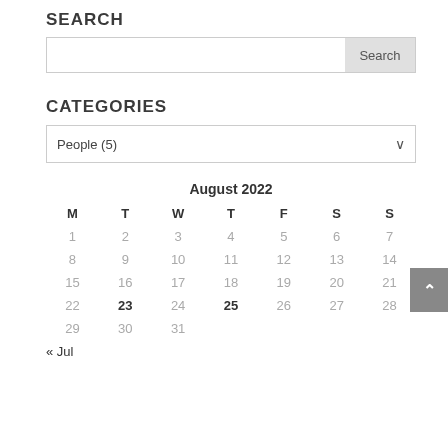SEARCH
[Figure (screenshot): Search input box with a Search button on the right]
CATEGORIES
[Figure (screenshot): Dropdown selector showing People (5) with a chevron arrow]
| August 2022 |  |  |  |  |  |  |
| --- | --- | --- | --- | --- | --- | --- |
| M | T | W | T | F | S | S |
| 1 | 2 | 3 | 4 | 5 | 6 | 7 |
| 8 | 9 | 10 | 11 | 12 | 13 | 14 |
| 15 | 16 | 17 | 18 | 19 | 20 | 21 |
| 22 | 23 | 24 | 25 | 26 | 27 | 28 |
| 29 | 30 | 31 |  |  |  |  |
« Jul